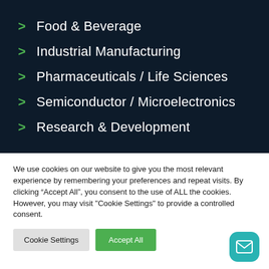> Food & Beverage
> Industrial Manufacturing
> Pharmaceuticals / Life Sciences
> Semiconductor / Microelectronics
> Research & Development
We use cookies on our website to give you the most relevant experience by remembering your preferences and repeat visits. By clicking “Accept All”, you consent to the use of ALL the cookies. However, you may visit "Cookie Settings" to provide a controlled consent.